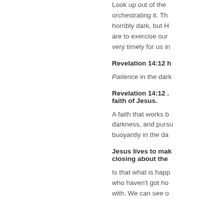Look up out of the orchestrating it. Th horribly dark, but H are to exercise our very timely for us in
Revelation 14:12 h
Patience in the dark
Revelation 14:12 . faith of Jesus.
A faith that works b darkness, and pursu buoyantly in the da
Jesus lives to mak closing about the
Is that what is happ who haven't got ho with. We can see o